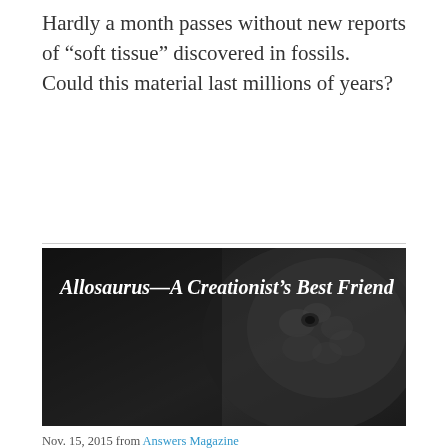Hardly a month passes without new reports of “soft tissue” discovered in fossils. Could this material last millions of years?
[Figure (photo): Dark background image of an Allosaurus dinosaur (close-up of head/scales) with overlaid white italic bold text reading 'Allosaurus—A Creationist’s Best Friend']
Nov. 15, 2015 from Answers Magazine
For decades, dinosaurs have troubled Christians who didn’t know how to explain them from the Bible.
Dead Chickens Tell No Tales, Though...